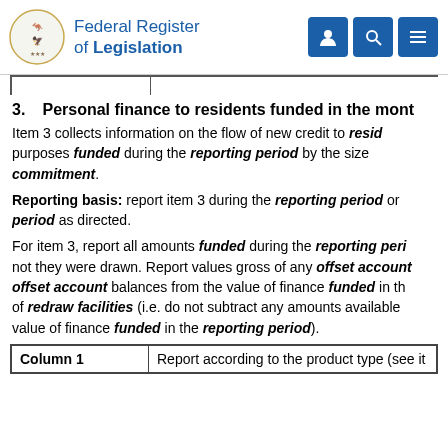Federal Register of Legislation
3. Personal finance to residents funded in the mont
Item 3 collects information on the flow of new credit to resid purposes funded during the reporting period by the size commitment.
Reporting basis: report item 3 during the reporting period or period as directed.
For item 3, report all amounts funded during the reporting peri not they were drawn. Report values gross of any offset account offset account balances from the value of finance funded in th of redraw facilities (i.e. do not subtract any amounts available value of finance funded in the reporting period).
| Column 1 |  |
| --- | --- |
| Column 1 | Report according to the product type (see it |